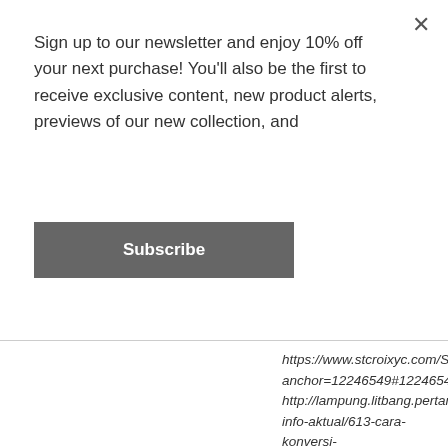Sign up to our newsletter and enjoy 10% off your next purchase! You'll also be the first to receive exclusive content, new product alerts, previews of our new collection, and
Subscribe
https://www.stcroixyc.com/Sailing/8138895?anchor=12246549#12246549 http://lampung.litbang.pertanian.go.id/eng/index info-aktual/613-cara-konversi-hasil-ubinan-padi-ke-hektar28 https://www.laurennaturals.com/blogs/news/is-ayurveda-oil-pulling-good-for-oral-health?comment=128656277598#comments https://www.propelfitness.in/blogs/fitnessmatters/mahatria-talks-about-health?comment=126360813741#comments https://happy-deers.com/blogs/news/nhkpr_gussan?